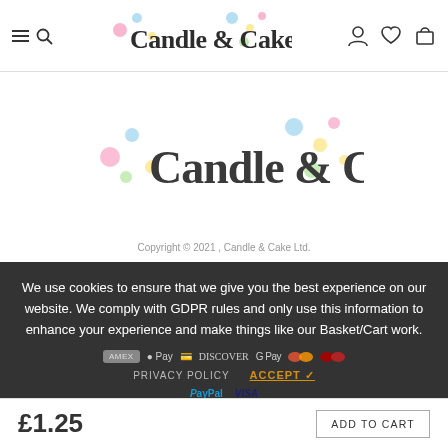Candle & Cake — Navigation header with menu, search, user, wishlist, cart icons
[Figure (logo): Candle & Cake logo with colorful dots and script/bold font in center of page]
Copyright © 2021 , Candle & Cake Ltd.
We use cookies to ensure that we give you the best experience on our website. We comply with GDPR rules and only use this information to enhance your experience and make things like our Basket/Cart work.
PRIVACY POLICY    ACCEPT ✓
£1.25
ADD TO CART